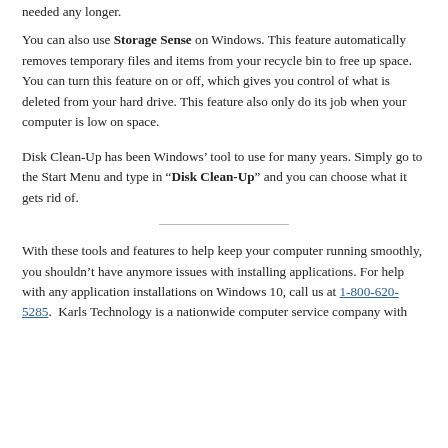needed any longer.
You can also use Storage Sense on Windows. This feature automatically removes temporary files and items from your recycle bin to free up space. You can turn this feature on or off, which gives you control of what is deleted from your hard drive. This feature also only do its job when your computer is low on space.
Disk Clean-Up has been Windows’ tool to use for many years. Simply go to the Start Menu and type in “Disk Clean-Up” and you can choose what it gets rid of.
With these tools and features to help keep your computer running smoothly, you shouldn’t have anymore issues with installing applications. For help with any application installations on Windows 10, call us at 1-800-620-5285.  Karls Technology is a nationwide computer service company with